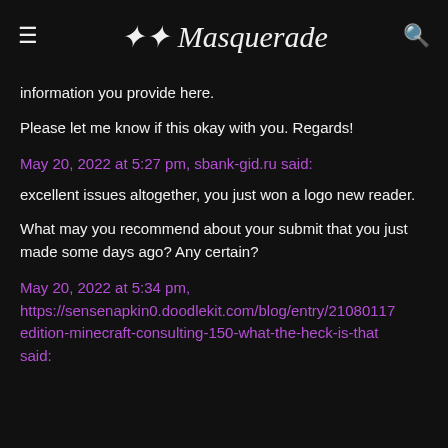≡  Masquerade  🔍
information you provide here.
Please let me know if this okay with you. Regards!
May 20, 2022 at 5:27 pm, sbank-gid.ru said:
excellent issues altogether, you just won a logo new reader.
What may you recommend about your submit that you just made some days ago? Any certain?
May 20, 2022 at 5:34 pm, https://sensenapkin0.doodlekit.com/blog/entry/21080117edition-minecraft-consulting-150-what-the-heck-is-that said: